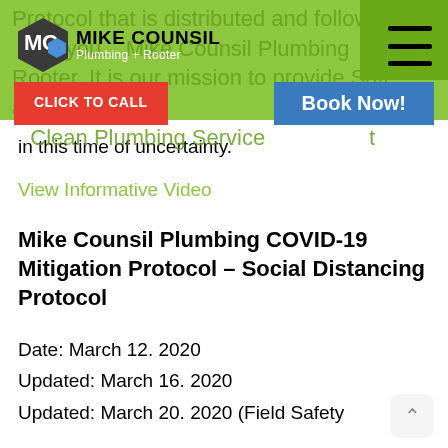[Figure (logo): Mike Counsil Plumbing + Rooter logo with hexagon icon and company name on green header background]
Protocol that is distributed and followed by you... Mike Counsil Plumbing Rooter. It is our mission to provide Safe and Clean Plumbing Services... in this time of uncertainty.
in this time of uncertainty.
View Informative Video
Mike Counsil Plumbing COVID-19 Mitigation Protocol – Social Distancing Protocol
Date: March 12. 2020
Updated: March 16. 2020
Updated: March 20. 2020 (Field Safety